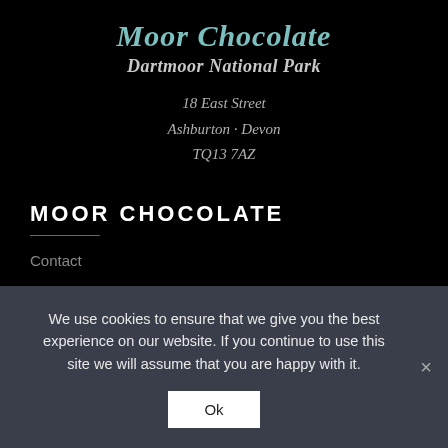Moor Chocolate
Dartmoor National Park
18 East Street
Ashburton · Devon
TQ13 7AZ
MOOR CHOCOLATE
Contact
We use cookies to ensure that we give you the best experience on our website. If you continue to use this site we will assume that you are happy with it.
Ok